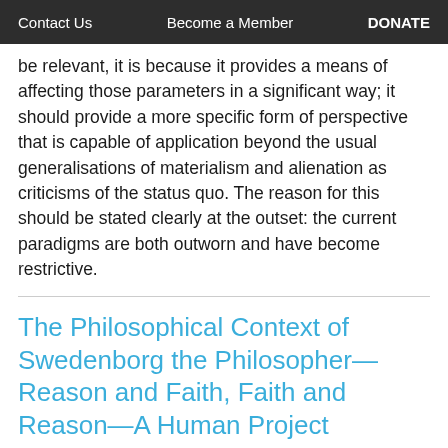Contact Us   Become a Member   DONATE
be relevant, it is because it provides a means of affecting those parameters in a significant way; it should provide a more specific form of perspective that is capable of application beyond the usual generalisations of materialism and alienation as criticisms of the status quo. The reason for this should be stated clearly at the outset: the current paradigms are both outworn and have become restrictive.
The Philosophical Context of Swedenborg the Philosopher—Reason and Faith, Faith and Reason—A Human Project